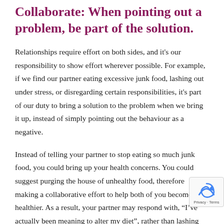Collaborate: When pointing out a problem, be part of the solution.
Relationships require effort on both sides, and it's our responsibility to show effort wherever possible. For example, if we find our partner eating excessive junk food, lashing out under stress, or disregarding certain responsibilities, it's part of our duty to bring a solution to the problem when we bring it up, instead of simply pointing out the behaviour as a negative.
Instead of telling your partner to stop eating so much junk food, you could bring up your health concerns. You could suggest purging the house of unhealthy food, therefore making a collaborative effort to help both of you become healthier. As a result, your partner may respond with, “I’ve actually been meaning to alter my diet”, rather than lashing out in defense. Both lives